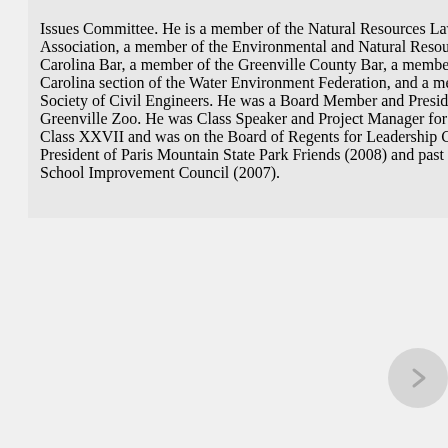Issues Committee. He is a member of the Natural Resources Law of the American Bar Association, a member of the Environmental and Natural Resources section of the South Carolina Bar, a member of the Greenville County Bar, a member of the national and South Carolina section of the Water Environment Federation, and a member of the American Society of Civil Engineers. He was a Board Member and President of the Friends of the Greenville Zoo. He was Class Speaker and Project Manager for the Leadership Greenville Class XXVII and was on the Board of Regents for Leadership Greenville. He is past President of Paris Mountain State Park Friends (2008) and past Chair of the Eastside HS School Improvement Council (2007).